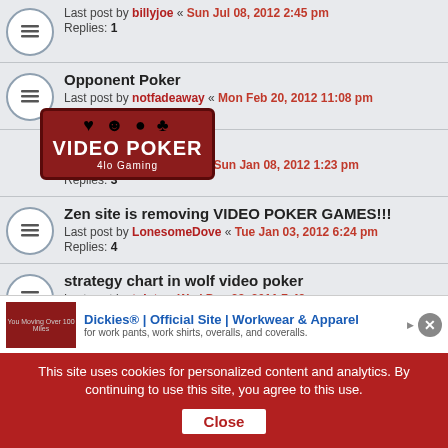Last post by billyjoe « Sun Jul 08, 2012 2:45 pm
Replies: 1
Opponent Poker
Last post by notfadeaway « Mon Feb 20, 2012 11:08 pm
[Figure (other): Video Poker advertisement overlay with suit icons and red banner]
4lo Gaming
Last post by SleazyRider « Sun Jan 08, 2012 1:23 pm
Replies: 3
Zen site is removing VIDEO POKER GAMES!!!
Last post by LonesomeDove « Tue Jan 03, 2012 6:24 pm
Replies: 4
strategy chart in wolf video poker
Last post by tolate « Wed Dec 28, 2011 7:49 pm
Replies: 2
Video Poker on Iphone
Last post by Miller77 « Sat Dec 03, 2011 10:36 pm
Replies: 24
NI OR anyone?
[Figure (other): Dickies advertisement banner: Dickies® | Official Site | Workwear & Apparel, for work pants, work shirts, overalls, and coveralls.]
This site uses cookies for personalized content and analytics. By continuing to use this site, you agree to this use.